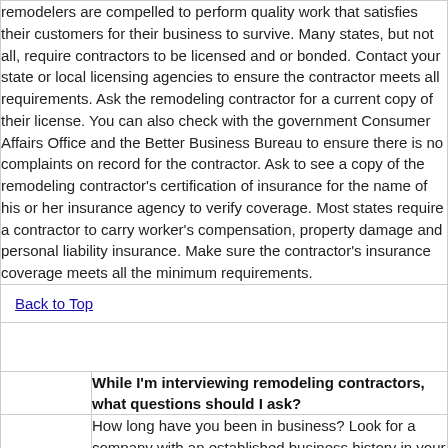remodelers are compelled to perform quality work that satisfies their customers for their business to survive. Many states, but not all, require contractors to be licensed and or bonded. Contact your state or local licensing agencies to ensure the contractor meets all requirements. Ask the remodeling contractor for a current copy of their license. You can also check with the government Consumer Affairs Office and the Better Business Bureau to ensure there is no complaints on record for the contractor. Ask to see a copy of the remodeling contractor's certification of insurance for the name of his or her insurance agency to verify coverage. Most states require a contractor to carry worker's compensation, property damage and personal liability insurance. Make sure the contractor's insurance coverage meets all the minimum requirements.
Back to Top
While I'm interviewing remodeling contractors, what questions should I ask?
How long have you been in business? Look for a company with an established business history in your community.